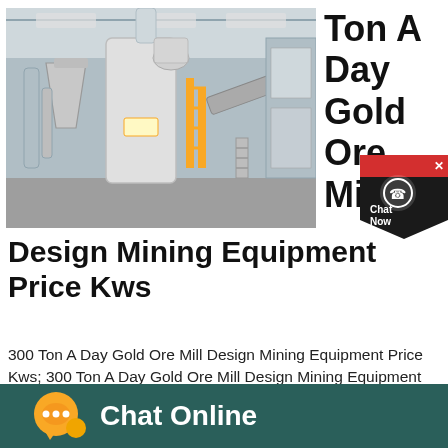[Figure (photo): Industrial mining mill facility interior showing large grinding/milling equipment, conveyors, and steel structure inside a warehouse]
Ton A Day Gold Ore Mill
[Figure (other): Chat Now button badge with headset icon, red and dark background, diamond shape]
Design Mining Equipment Price Kws
300 Ton A Day Gold Ore Mill Design Mining Equipment Price Kws; 300 Ton A Day Gold Ore Mill Design Mining Equipment Price Kws Zhongxin cone crusher liner plate
[Figure (other): Chat Online button bar with speech bubble icon on dark teal background]